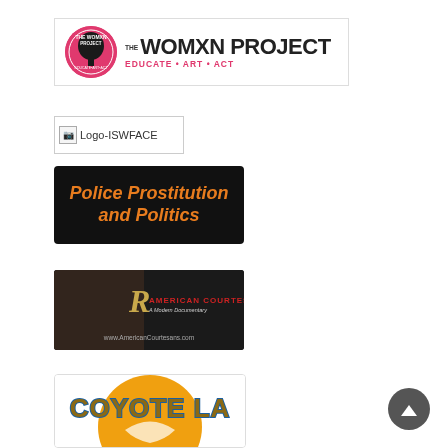[Figure (logo): The Womxn Project logo with pink circle icon and bold text. Tagline: EDUCATE • ART • ACT]
[Figure (logo): Broken image placeholder for Logo-ISWFACE]
[Figure (logo): Police Prostitution and Politics logo with orange italic bold text on black background]
[Figure (logo): American Courtesans documentary logo with script lettering and red title text on dark background, www.AmericanCourtesans.com]
[Figure (logo): Coyote LA logo with gold/orange circular background and stylized text]